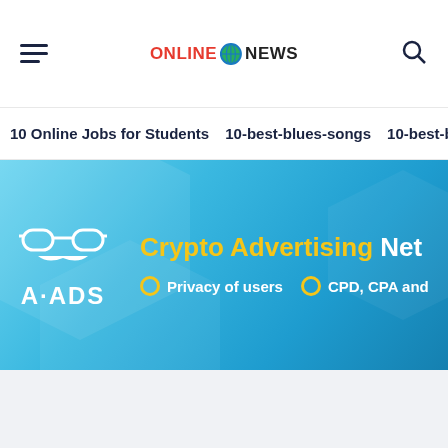ONLINE NEWS
10 Online Jobs for Students
10-best-blues-songs
10-best-bolly
[Figure (illustration): A-ADS Crypto Advertising Network banner ad with blue gradient background, A-ADS logo with mustache icon, yellow and white text reading 'Crypto Advertising Network', bullet points: 'Privacy of users' and 'CPD, CPA and']